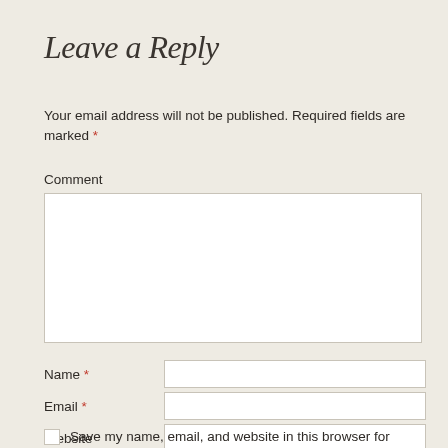Leave a Reply
Your email address will not be published. Required fields are marked *
Comment
Name *
Email *
Website
Save my name, email, and website in this browser for